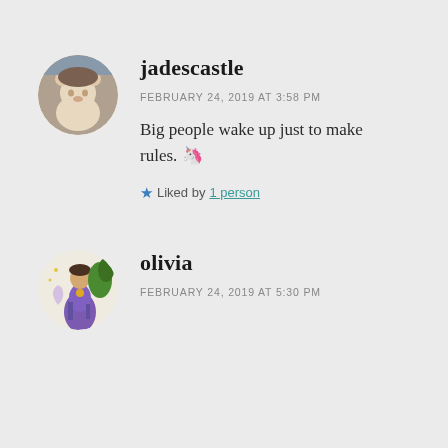[Figure (photo): Circular avatar photo of a stuffed bear/doll toy]
jadescastle
FEBRUARY 24, 2019 AT 3:58 PM
Big people wake up just to make rules. 🦄
★ Liked by 1 person
[Figure (illustration): Circular avatar illustration of a medieval-style woman figure in purple robe with moon and foliage]
olivia
FEBRUARY 24, 2019 AT 5:30 PM